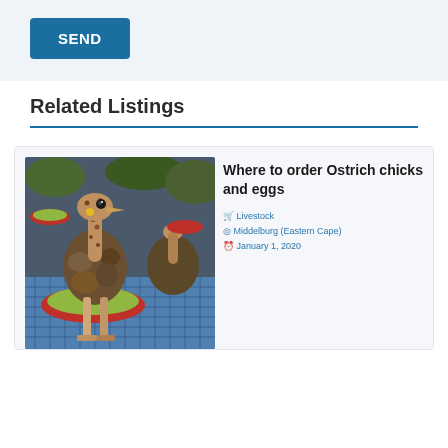SEND
Related Listings
[Figure (photo): Baby ostrich chick standing near a red feeding dish with green feed, with another chick visible in the background on a blue grid mat surface.]
Where to order Ostrich chicks and eggs
Livestock  Middelburg (Eastern Cape)  January 1, 2020